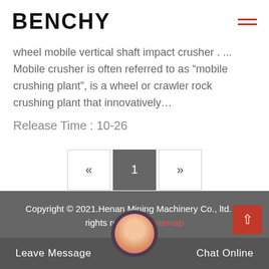BENCHY
wheel mobile vertical shaft impact crusher . ... Mobile crusher is often referred to as “mobile crushing plant”, is a wheel or crawler rock crushing plant that innovatively…
Release Time : 10-26
«  1  »
Copyright © 2021.Henan Mining Machinery Co., ltd. All rights reserved.  sitemap
Leave Message   Chat Online